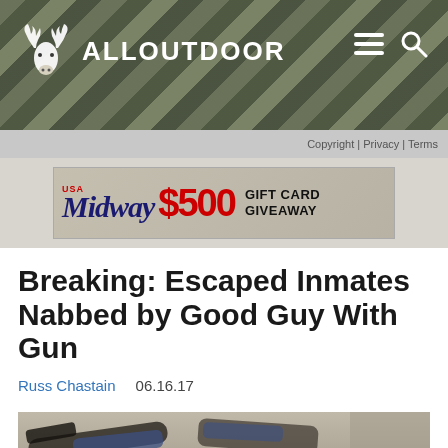ALLOUTDOOR
Copyright | Privacy | Terms
[Figure (photo): MidwayUSA $500 Gift Card Giveaway advertisement banner]
Breaking: Escaped Inmates Nabbed by Good Guy With Gun
Russ Chastain   06.16.17
[Figure (photo): Photo of two people lying face-down on the ground, apparently detained]